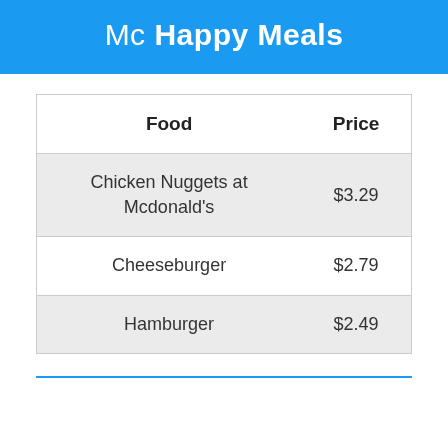Mc Happy Meals
| Food | Price |
| --- | --- |
| Chicken Nuggets at Mcdonald's | $3.29 |
| Cheeseburger | $2.79 |
| Hamburger | $2.49 |